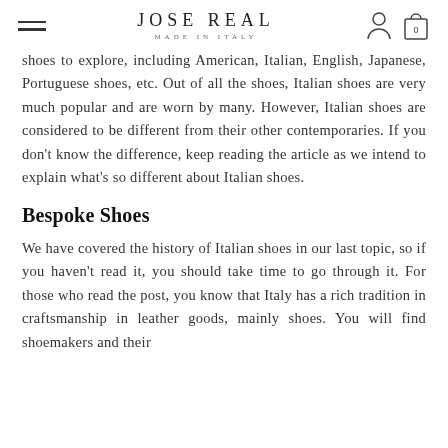JOSE REAL
MADE IN ITALY
shoes to explore, including American, Italian, English, Japanese, Portuguese shoes, etc. Out of all the shoes, Italian shoes are very much popular and are worn by many. However, Italian shoes are considered to be different from their other contemporaries. If you don't know the difference, keep reading the article as we intend to explain what's so different about Italian shoes.
Bespoke Shoes
We have covered the history of Italian shoes in our last topic, so if you haven't read it, you should take time to go through it. For those who read the post, you know that Italy has a rich tradition in craftsmanship in leather goods, mainly shoes. You will find shoemakers and their